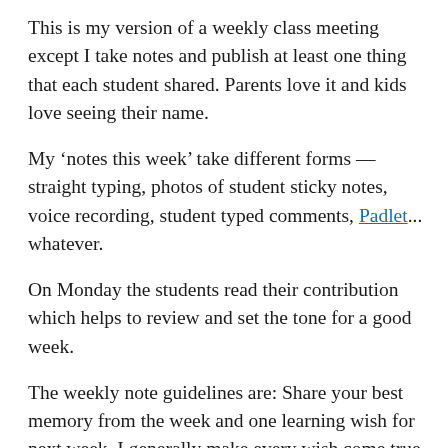This is my version of a weekly class meeting except I take notes and publish at least one thing that each student shared. Parents love it and kids love seeing their name.
My ‘notes this week’ take different forms — straight typing, photos of student sticky notes, voice recording, student typed comments, Padlet... whatever.
On Monday the students read their contribution which helps to review and set the tone for a good week.
The weekly note guidelines are: Share your best memory from the week and one learning wish for next week. I generally make every wish come true. They think I have Santa power!
(Check out the video below which formed part of a recent Friday Check Out and visit Becky’s blog to see